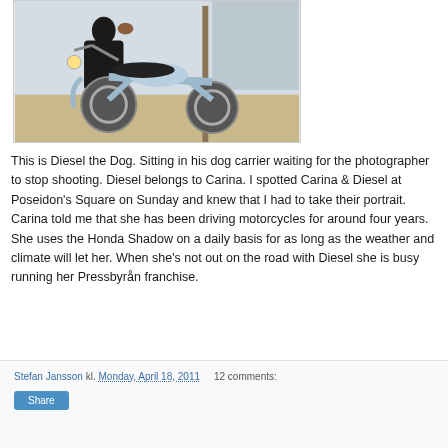[Figure (photo): A woman sitting on a motorcycle (Honda Shadow) in an outdoor setting, with a dog visible in a carrier. The motorcycle is silver/blue, parked on a sandy/gravel surface near a wooden post and fence.]
This is Diesel the Dog. Sitting in his dog carrier waiting for the photographer to stop shooting. Diesel belongs to Carina. I spotted Carina & Diesel at Poseidon's Square on Sunday and knew that I had to take their portrait. Carina told me that she has been driving motorcycles for around four years. She uses the Honda Shadow on a daily basis for as long as the weather and climate will let her. When she's not out on the road with Diesel she is busy running her Pressbyrån franchise.
Stefan Jansson kl. Monday, April 18, 2011   12 comments: